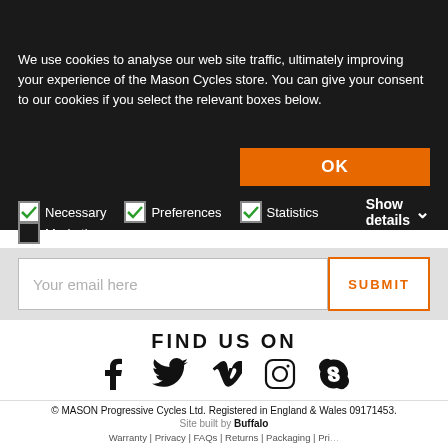About Mason Cookies
We use cookies to analyse our web site traffic, ultimately improving your experience of the Mason Cycles store. You can give your consent to our cookies if you select the relevant boxes below.
OK
Necessary  Preferences  Statistics  Marketing  Show details
Your email here  SUBMIT
FIND US ON
[Figure (infographic): Social media icons: Facebook, Twitter, Vimeo, Instagram, Skype]
© MASON Progressive Cycles Ltd. Registered in England & Wales 09171453. Site built by Buffalo. Warranty | Privacy | FAQs | Returns | Packaging | Privacy